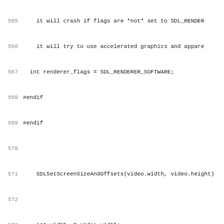Code listing lines 565-597, source code in C/C++ with SDL2 video initialization
[Figure (other): Source code listing showing C/C++ code for SDL2 video initialization, lines 565-597]